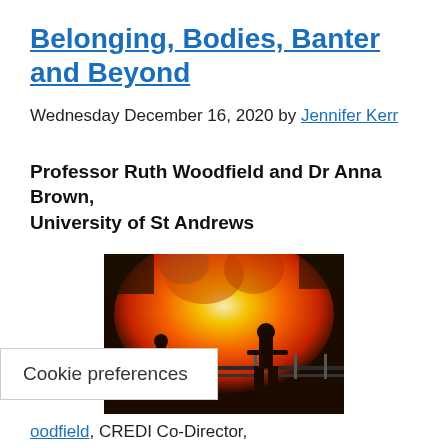Belonging, Bodies, Banter and Beyond
Wednesday December 16, 2020 by Jennifer Kerr
Professor Ruth Woodfield and Dr Anna Brown,
University of St Andrews
[Figure (photo): Two workers silhouetted against a large industrial fire/furnace blast, standing on a grated platform]
oodfield, CREDI Co-Director,